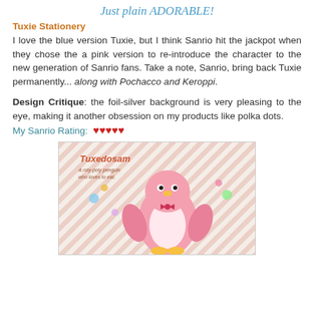Just plain ADORABLE!
Tuxie Stationery
I love the blue version Tuxie, but I think Sanrio hit the jackpot when they chose the a pink version to re-introduce the character to the new generation of Sanrio fans. Take a note, Sanrio, bring back Tuxie permanently... along with Pochacco and Keroppi.
Design Critique: the foil-silver background is very pleasing to the eye, making it another obsession on my products like polka dots.
My Sanrio Rating:  ♥♥♥♥♥
[Figure (photo): Photo of a Tuxedosam stationery product — pink penguin character on striped packaging with text 'Tuxedosam A roly-poly penguin who loves to eat.']